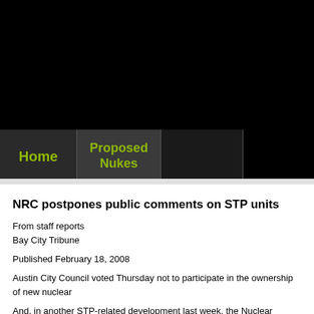[Figure (screenshot): Black header area at top of webpage]
Home | Proposed Nukes
NRC postpones public comments on STP units
From staff reports
Bay City Tribune
Published February 18, 2008
Austin City Council voted Thursday not to participate in the ownership of new nuclear
And, in another STP-related development last week, the Nuclear Regulatory Commissi NRG Energy Inc.'s application for the new units. New Jersey-based NRG owns 44 perc
Austin will also join at to join one after Austin Energy the City of Austin